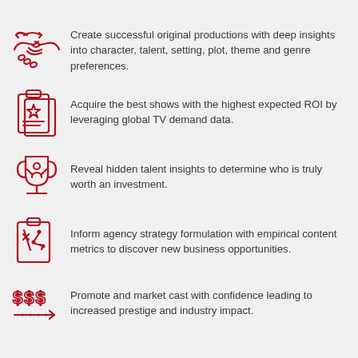Create successful original productions with deep insights into character, talent, setting, plot, theme and genre preferences.
Acquire the best shows with the highest expected ROI by leveraging global TV demand data.
Reveal hidden talent insights to determine who is truly worth an investment.
Inform agency strategy formulation with empirical content metrics to discover new business opportunities.
Promote and market cast with confidence leading to increased prestige and industry impact.